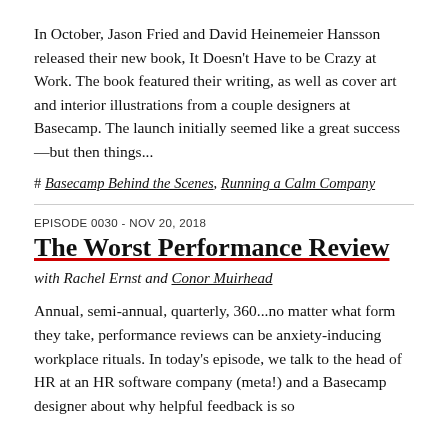In October, Jason Fried and David Heinemeier Hansson released their new book, It Doesn't Have to be Crazy at Work. The book featured their writing, as well as cover art and interior illustrations from a couple designers at Basecamp. The launch initially seemed like a great success—but then things...
# Basecamp Behind the Scenes, Running a Calm Company
EPISODE 0030 - NOV 20, 2018
The Worst Performance Review
with Rachel Ernst and Conor Muirhead
Annual, semi-annual, quarterly, 360...no matter what form they take, performance reviews can be anxiety-inducing workplace rituals. In today's episode, we talk to the head of HR at an HR software company (meta!) and a Basecamp designer about why helpful feedback is so